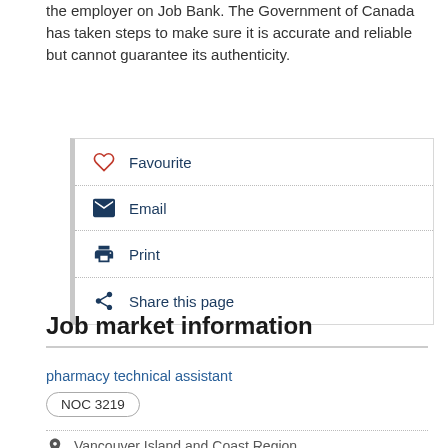the employer on Job Bank. The Government of Canada has taken steps to make sure it is accurate and reliable but cannot guarantee its authenticity.
Favourite
Email
Print
Share this page
Job market information
pharmacy technical assistant
NOC 3219
Vancouver Island and Coast Region